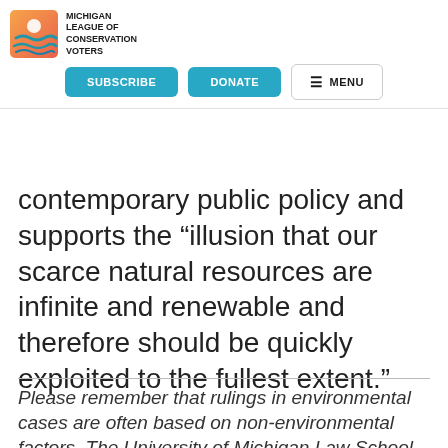[Figure (logo): Michigan League of Conservation Voters logo with orange/blue shield icon and organization name]
law. Finally, he argued that the "very serious consequences" sta… contemporary public policy and supports the “illusion that our scarce natural resources are infinite and renewable and therefore should be quickly exploited to the fullest extent.”
Please remember that rulings in environmental cases are often based on non-environmental factors. The University of Michigan Law School did not participate in the rating process and